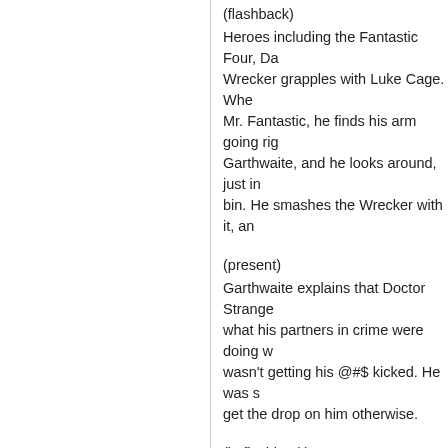(flashback)
Heroes including the Fantastic Four, Da... Wrecker grapples with Luke Cage. Whe... Mr. Fantastic, he finds his arm going rig... Garthwaite, and he looks around, just in... bin. He smashes the Wrecker with it, an...
(present)
Garthwaite explains that Doctor Strange... what his partners in crime were doing w... wasn't getting his @#$ kicked. He was s... get the drop on him otherwise.
(in flashback)
The Hood orders his men to leave the fi... them to split up and make a run for it. H... Wrecking Crew don't want to leave him... bag of money, tells the Hood that he doe... to run and keep running. King asks how... orders. He uses a pistol to hold the hero... King gets hit by a piece of flying furnitur...